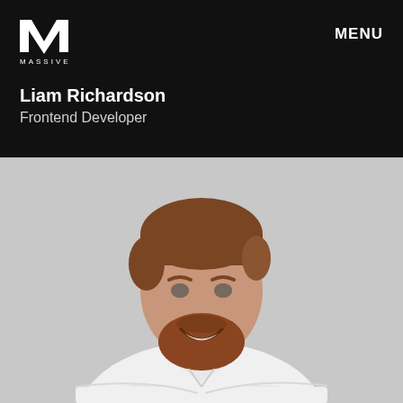[Figure (logo): Massive agency logo — white M lettermark above the word MASSIVE in spaced capitals]
MENU
Liam Richardson
Frontend Developer
[Figure (photo): Professional headshot of a young man with reddish-brown hair and beard, smiling with arms crossed, wearing a white shirt, against a light grey background]